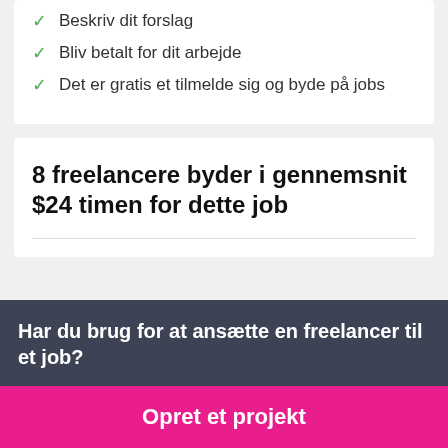Beskriv dit forslag
Bliv betalt for dit arbejde
Det er gratis et tilmelde sig og byde på jobs
8 freelancere byder i gennemsnit $24 timen for dette job
Har du brug for at ansætte en freelancer til et job?
Opret et projekt